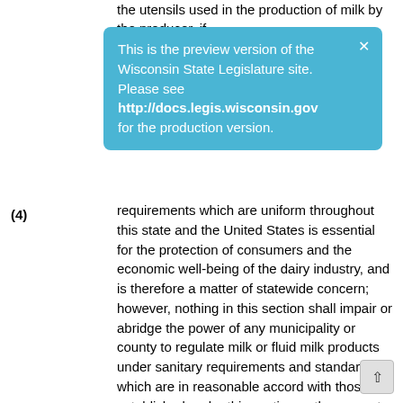the utensils used in the production of milk by the producer, if
This is the preview version of the Wisconsin State Legislature site. Please see http://docs.legis.wisconsin.gov for the production version.
requirements which are uniform throughout this state and the United States is essential for the protection of consumers and the economic well-being of the dairy industry, and is therefore a matter of statewide concern; however, nothing in this section shall impair or abridge the power of any municipality or county to regulate milk or fluid milk products under sanitary requirements and standards which are in reasonable accord with those established under this section or the power to impose reasonable license permit and inspection fees which combined shall not exceed the cost of necessary inspection. A municipality or county may not impose any fee for its inspection of milk producers, dairy plant facilities or dairy products which are under the inspection supervision of another governmental unit within or without the state with a valid certification rating made or approved by the department. No governmental unit may impose or collect a fee directly from the producer. A license or permit fee not to exceed $25 annually may be imposed on milk distributors licensed under s. 97.22 and on dairy plants under the